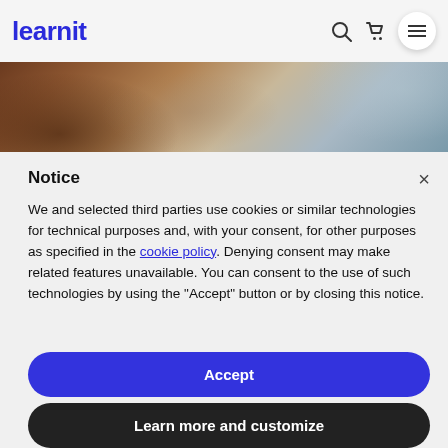learnit
[Figure (photo): Partial view of a person at a desk with papers, wearing casual clothing, with a laptop partially visible on a wooden surface.]
Notice
We and selected third parties use cookies or similar technologies for technical purposes and, with your consent, for other purposes as specified in the cookie policy. Denying consent may make related features unavailable. You can consent to the use of such technologies by using the “Accept” button or by closing this notice.
Accept
Learn more and customize